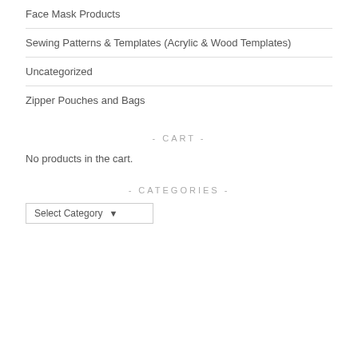Face Mask Products
Sewing Patterns & Templates (Acrylic & Wood Templates)
Uncategorized
Zipper Pouches and Bags
- CART -
No products in the cart.
- CATEGORIES -
Select Category